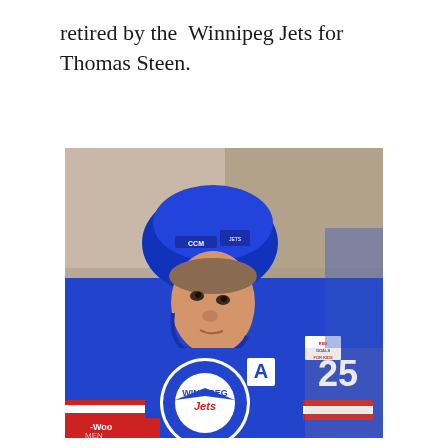retired by the Winnipeg Jets for Thomas Steen.
[Figure (photo): Photo of Thomas Steen wearing a Winnipeg Jets blue hockey jersey with number 25 and the alternate captain 'A' patch, blue CCM helmet, leaning forward on ice with a blurred crowd in background.]